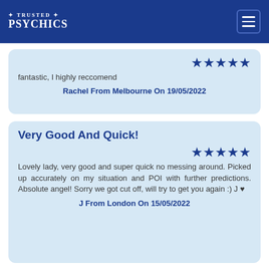TRUSTED PSYCHICS
fantastic, I highly reccomend
Rachel From Melbourne On 19/05/2022
Very Good And Quick!
Lovely lady, very good and super quick no messing around. Picked up accurately on my situation and POI with further predictions. Absolute angel! Sorry we got cut off, will try to get you again :) J ♥
J From London On 15/05/2022